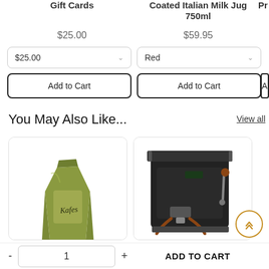Gift Cards
$25.00
$25.00
Add to Cart
Coated Italian Milk Jug 750ml
$59.95
Red
Add to Cart
Pr Be
A
You May Also Like...
View all
[Figure (photo): A green coffee bag product photo]
[Figure (photo): A black espresso machine product photo]
- 1 + ADD TO CART